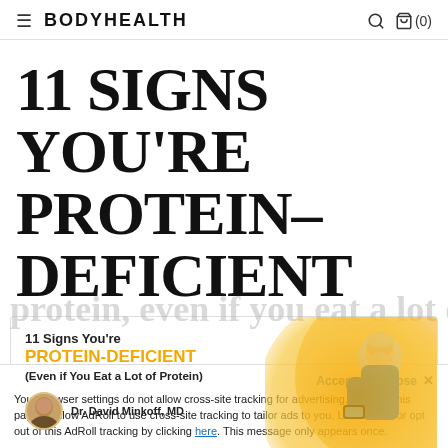≡  BODYHEALTH  🔍  🛍 (0)
11 SIGNS YOU'RE PROTEIN-DEFICIENT
[Figure (infographic): Promotional banner for '11 Signs You're PROTEIN-DEFICIENT (Even if You Eat a Lot of Protein)' by Dr. David Minkoff, MD. Shows text on left and an older man in blue athletic wear on right against a gold/yellow circular background.]
Your browser settings do not allow cross-site tracking for advertising. Click on this page to allow AdRoll to use cross-site tracking to tailor ads to you. Learn more or opt out of this AdRoll tracking by clicking here. This message only appears once.